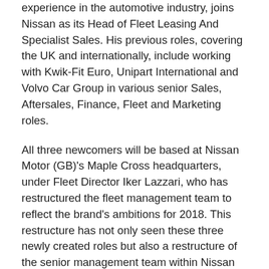experience in the automotive industry, joins Nissan as its Head of Fleet Leasing And Specialist Sales. His previous roles, covering the UK and internationally, include working with Kwik-Fit Euro, Unipart International and Volvo Car Group in various senior Sales, Aftersales, Finance, Fleet and Marketing roles.
All three newcomers will be based at Nissan Motor (GB)'s Maple Cross headquarters, under Fleet Director Iker Lazzari, who has restructured the fleet management team to reflect the brand's ambitions for 2018. This restructure has not only seen these three newly created roles but also a restructure of the senior management team within Nissan Fleet. They join Client Service Manager Dan Thomas, Head of Fleet Marketing Amy Harms, Head of Corporate Fleet Adam Connelly and Head of Rental Kevin Childs.
Welcoming the trio to the team, Iker said: "I am delighted